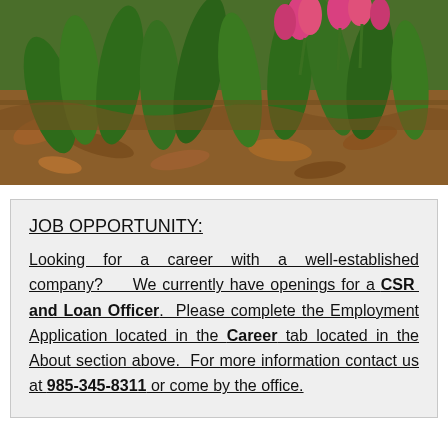[Figure (photo): Outdoor garden photo showing tulips with pink flowers blooming among large green leaves, set against a bed of dried brown leaves and mulch.]
JOB OPPORTUNITY:
Looking for a career with a well-established company? We currently have openings for a CSR and Loan Officer. Please complete the Employment Application located in the Career tab located in the About section above. For more information contact us at 985-345-8311 or come by the office.